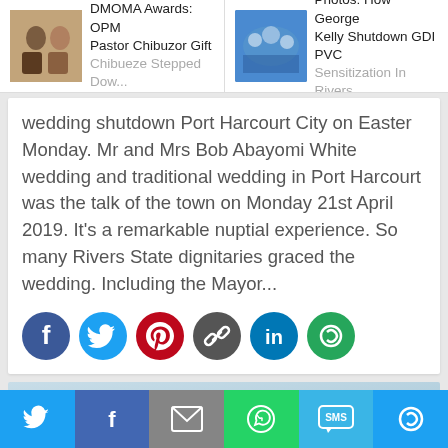DMOMA Awards: OPM Pastor Chibuzor Gift Chibueze Stepped Dow... | Photos: How George Kelly Shutdown GDI PVC Sensitization In Rivers...
wedding shutdown Port Harcourt City on Easter Monday. Mr and Mrs Bob Abayomi White wedding and traditional wedding in Port Harcourt was the talk of the town on Monday 21st April 2019. It's a remarkable nuptial experience. So many Rivers State dignitaries graced the wedding. Including the Mayor...
[Figure (infographic): Social share buttons row: Facebook (blue), Twitter (cyan), Pinterest (red), Link/Copy (gray), LinkedIn (blue), More (green)]
[Figure (photo): Bottom image preview, partially visible, light blue/sky tones with a partial figure]
[Figure (infographic): Bottom share bar with buttons: Twitter (blue), Facebook (dark blue), Email (gray), WhatsApp (green), SMS (light blue), More (blue)]